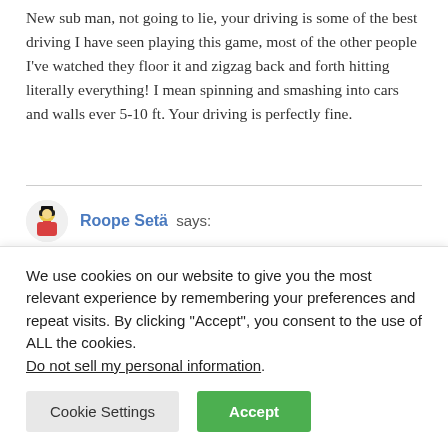New sub man, not going to lie, your driving is some of the best driving I have seen playing this game, most of the other people I've watched they floor it and zigzag back and forth hitting literally everything! I mean spinning and smashing into cars and walls ever 5-10 ft. Your driving is perfectly fine.
Roope Setä says:
May 8, 2022 at 3:00 am
We use cookies on our website to give you the most relevant experience by remembering your preferences and repeat visits. By clicking "Accept", you consent to the use of ALL the cookies. Do not sell my personal information.